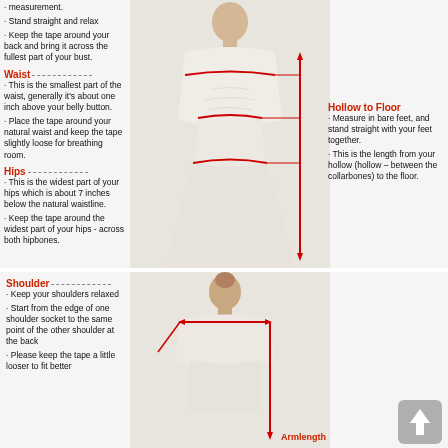measurement.
Stand straight and relax
Keep the tape around your back and bring it across the fullest part of your bust.
Waist
This is the smallest part of the waist, generally it's about one inch above your belly button.
Place the tape around your natural waist and keep the tape slightly loose for breathing room.
Hips
This is the widest part of your hips which is about 7 inches below the natural waistline.
Keep the tape around the widest part of your hips - across both hipbones.
Hollow to Floor
Measure in bare feet, and stand straight with your feet together.
This is the length from your hollow (hollow – between the collarbones) to the floor.
[Figure (illustration): Woman in white wedding dress, front view, with red measurement lines indicating bust, waist, and hip measurements, and a vertical red line showing hollow to floor measurement.]
Shoulder
Keep your shoulders relaxed
Start from the edge of one shoulder socket to the same point of the other shoulder at the back
Please keep the tape a little looser to fit better
[Figure (illustration): Woman in white dress, back view, with red measurement lines showing shoulder width and arm length.]
Armlength